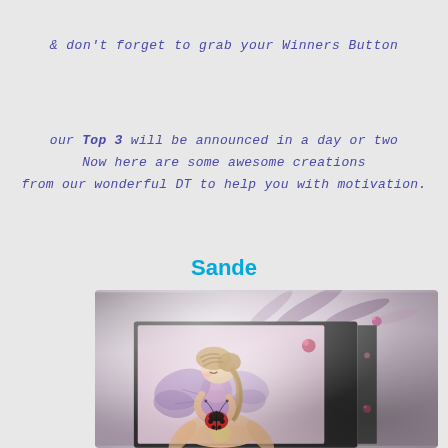& don't forget to grab your Winners Button
our Top 3 will be announced in a day or two
Now here are some awesome creations
from our wonderful DT to help you with motivation.
Sande
[Figure (photo): A crafted matchbox or small box decorated with an illustration of a fairy girl with purple wings holding a ladybug, sitting on a flower. The box has a pink background with a pink gem embellishment. Decorative floral elements visible in the background.]